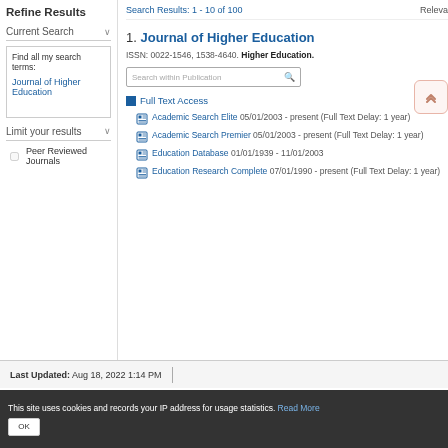Refine Results
Current Search
Find all my search terms:
Journal of Higher Education
Limit your results
Peer Reviewed Journals
Search Results: 1 - 10 of 100
Releva
1. Journal of Higher Education
ISSN: 0022-1546, 1538-4640. Higher Education.
Search within Publication
Full Text Access
Academic Search Elite 05/01/2003 - present (Full Text Delay: 1 year)
Academic Search Premier 05/01/2003 - present (Full Text Delay: 1 year)
Education Database 01/01/1939 - 11/01/2003
Education Research Complete 07/01/1990 - present (Full Text Delay: 1 year)
Last Updated: Aug 18, 2022 1:14 PM
This site uses cookies and records your IP address for usage statistics. Read More